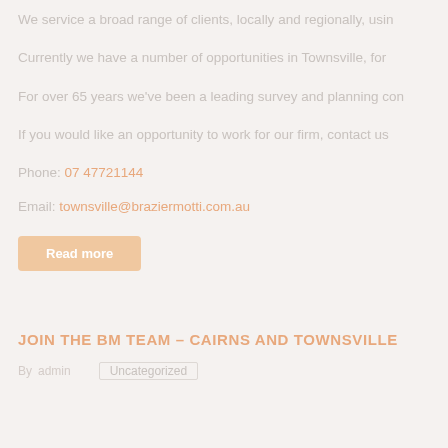We service a broad range of clients, locally and regionally, usin…
Currently we have a number of opportunities in Townsville, for…
For over 65 years we've been a leading survey and planning con…
If you would like an opportunity to work for our firm, contact us…
Phone: 07 47721144
Email: townsville@braziermotti.com.au
Read more
JOIN THE BM TEAM – CAIRNS AND TOWNSVILLE
By admin   Uncategorized